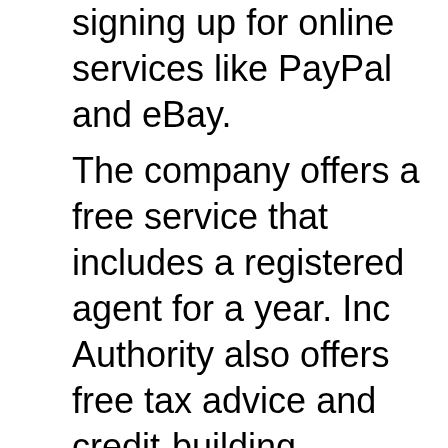signing up for online services like PayPal and eBay.
The company offers a free service that includes a registered agent for a year. Inc Authority also offers free tax advice and credit-building through its partner companies. There are many pricing options available from Inc Authority, so it is important that you understand your needs. The company's website offers tiered pricing that can be tailored to suit different budgets. The company offers free registration, a free registered agent service for one year, and a $99 per annum subscription for all its services. This is a price well below the market average, and among the lowest rates for registered agent services.